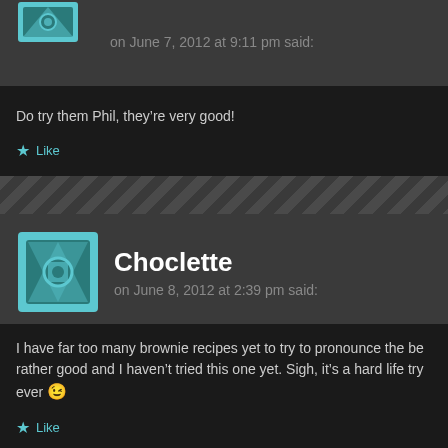on June 7, 2012 at 9:11 pm said:
Do try them Phil, they're very good!
Like
Choclette
on June 8, 2012 at 2:39 pm said:
I have far too many brownie recipes yet to try to pronounce the be rather good and I haven't tried this one yet. Sigh, it's a hard life try ever 😉
Like
At Anna's kitchen table
on June 9, 2012 at 3:06 pm said: